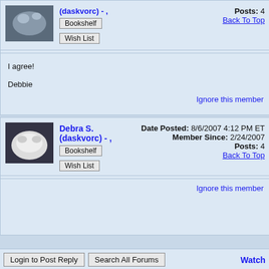[Figure (photo): Avatar photo of a cat or small animal, partially visible at top of first post box]
Posts: 4
Back To Top
I agree!
Debbie
Ignore this member
[Figure (photo): Avatar photo of a white cat or animal, Debra S. / daskvorc profile picture]
Debra S. (daskvorc) - ,
Date Posted: 8/6/2007 4:12 PM ET
Member Since: 2/24/2007
Posts: 4
Back To Top
Ignore this member
Login to Post Reply
Search All Forums
Watch